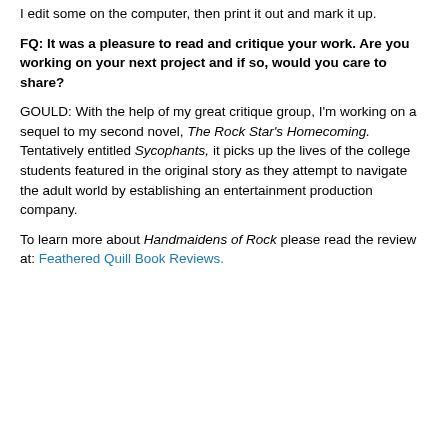I edit some on the computer, then print it out and mark it up.
FQ: It was a pleasure to read and critique your work. Are you working on your next project and if so, would you care to share?
GOULD: With the help of my great critique group, I'm working on a sequel to my second novel, The Rock Star's Homecoming. Tentatively entitled Sycophants, it picks up the lives of the college students featured in the original story as they attempt to navigate the adult world by establishing an entertainment production company.
To learn more about Handmaidens of Rock please read the review at: Feathered Quill Book Reviews.